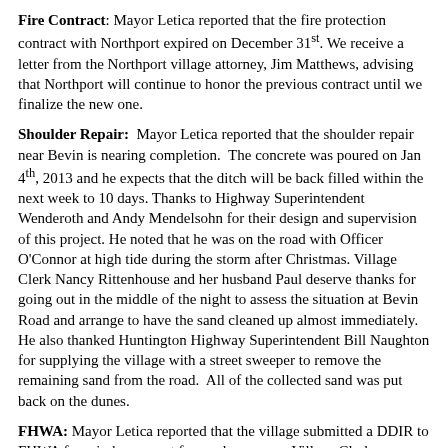Fire Contract: Mayor Letica reported that the fire protection contract with Northport expired on December 31st. We receive a letter from the Northport village attorney, Jim Matthews, advising that Northport will continue to honor the previous contract until we finalize the new one.
Shoulder Repair: Mayor Letica reported that the shoulder repair near Bevin is nearing completion. The concrete was poured on Jan 4th, 2013 and he expects that the ditch will be back filled within the next week to 10 days. Thanks to Highway Superintendent Wenderoth and Andy Mendelsohn for their design and supervision of this project. He noted that he was on the road with Officer O'Connor at high tide during the storm after Christmas. Village Clerk Nancy Rittenhouse and her husband Paul deserve thanks for going out in the middle of the night to assess the situation at Bevin Road and arrange to have the sand cleaned up almost immediately. He also thanked Huntington Highway Superintendent Bill Naughton for supplying the village with a street sweeper to remove the remaining sand from the road. All of the collected sand was put back on the dunes.
FHWA: Mayor Letica reported that the village submitted a DDIR to FHWA for reimbursement for road expenses. Village Clerk Rittenhouse met with First Lady at...